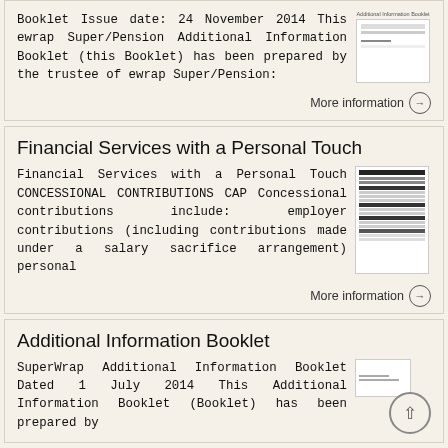Booklet Issue date: 24 November 2014 This ewrap Super/Pension Additional Information Booklet (this Booklet) has been prepared by the trustee of ewrap Super/Pension:
More information →
Financial Services with a Personal Touch
Financial Services with a Personal Touch CONCESSIONAL CONTRIBUTIONS CAP Concessional contributions include: employer contributions (including contributions made under a salary sacrifice arrangement) personal
More information →
Additional Information Booklet
SuperWrap Additional Information Booklet Dated 1 July 2014 This Additional Information Booklet (Booklet) has been prepared by